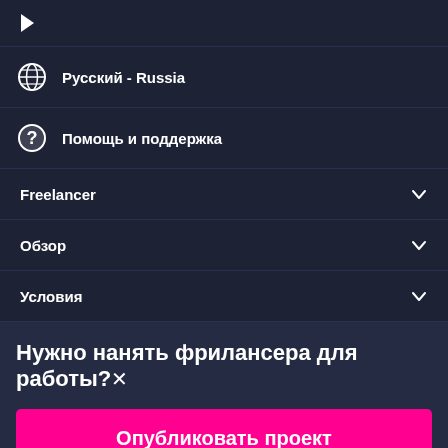[Figure (illustration): Arrow/play icon pointing right at top of navigation menu]
Русский - Russia
Помощь и поддержка
Freelancer
Обзор
Условия
Нужно нанять фрилансера для работы?×
Опубликовать проект